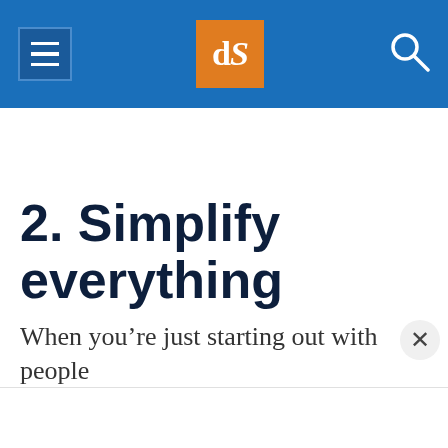dPS navigation header with menu, logo, and search
2. Simplify everything
When you’re just starting out with people